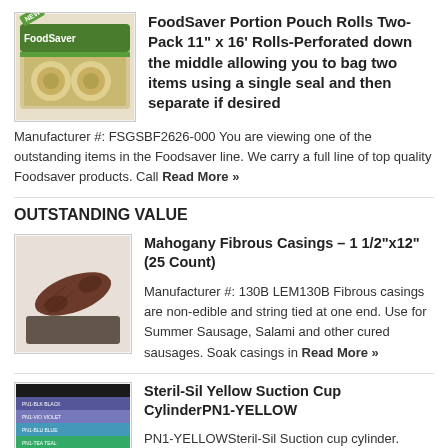[Figure (photo): FoodSaver product box image with NEW badge]
FoodSaver Portion Pouch Rolls Two-Pack 11" x 16' Rolls-Perforated down the middle allowing you to bag two items using a single seal and then separate if desired
Manufacturer #: FSGSBF2626-000 You are viewing one of the outstanding items in the Foodsaver line. We carry a full line of top quality Foodsaver products. Call Read More »
OUTSTANDING VALUE
[Figure (photo): Mahogany fibrous sausage casing product image]
Mahogany Fibrous Casings – 1 1/2"x12" (25 Count)
Manufacturer #: 130B LEM130B Fibrous casings are non-edible and string tied at one end. Use for Summer Sausage, Salami and other cured sausages. Soak casings in Read More »
[Figure (photo): Steril-Sil colored cylinder suction cup product image showing color swatches]
Steril-Sil Yellow Suction Cup CylinderPN1-YELLOW
PN1-YELLOWSteril-Sil Suction cup cylinder. YELLOW plastic perforated cylinder with 2 silicone suction cups. Great universal dispensing. 2lb capacity. Made in the U.S.A. Model